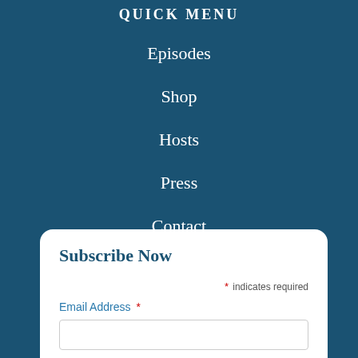QUICK MENU
Episodes
Shop
Hosts
Press
Contact
Subscribe Now
* indicates required
Email Address *